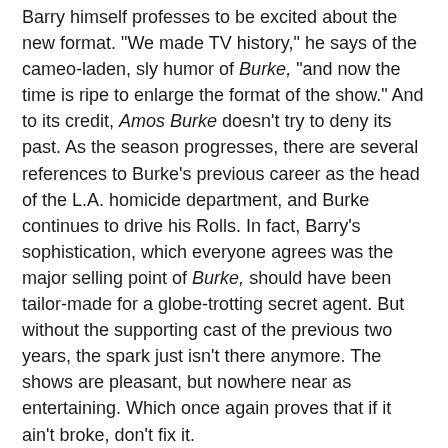Barry himself professes to be excited about the new format. "We made TV history," he says of the cameo-laden, sly humor of Burke, "and now the time is ripe to enlarge the format of the show." And to its credit, Amos Burke doesn't try to deny its past. As the season progresses, there are several references to Burke's previous career as the head of the L.A. homicide department, and Burke continues to drive his Rolls. In fact, Barry's sophistication, which everyone agrees was the major selling point of Burke, should have been tailor-made for a globe-trotting secret agent. But without the supporting cast of the previous two years, the spark just isn't there anymore. The shows are pleasant, but nowhere near as entertaining. Which once again proves that if it ain't broke, don't fix it.
Besides Amos Burke, Secret Agent, the 1965-66 television season also sees the premieres of I Spy, The Wild Wild West, and Get Smart. They all go on to longer, more successful runs than Amos Burke. And when Gene Barry reprises the role of Amos Burke in 1994, it will be under the moniker of Burke's Law. As it should be.